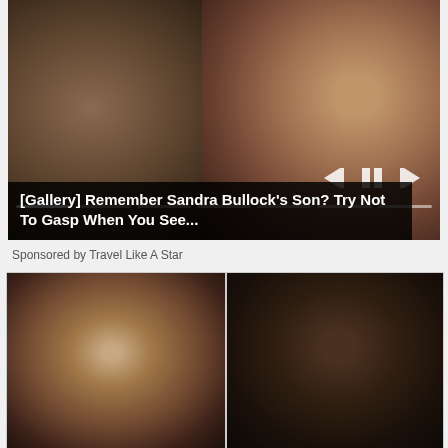[Figure (photo): Advertisement image showing a child and a woman wearing sunglasses, with media playback controls and progress bar overlay. Black caption box reads: [Gallery] Remember Sandra Bullock's Son? Try Not To Gasp When You See...]
[Gallery] Remember Sandra Bullock’s Son? Try Not To Gasp When You See...
Sponsored by Travel Like A Star
[Figure (photo): Advertisement image showing two mugshot-style photos of two men side by side against a plain background.]